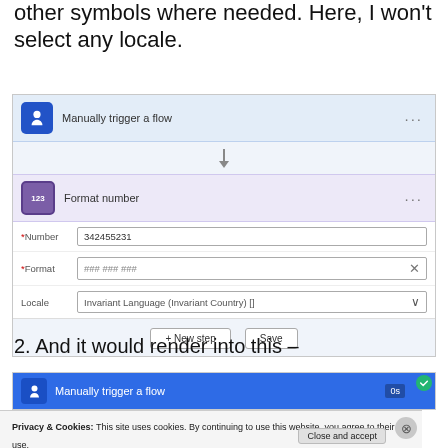other symbols where needed. Here, I won't select any locale.
[Figure (screenshot): Microsoft Power Automate flow builder showing 'Manually trigger a flow' connected to 'Format number' action. Format number has fields: Number = 342455231, Format = ### ### ###, Locale = Invariant Language (Invariant Country) []. Buttons: + New step, Save.]
2. And it would render into this –
[Figure (screenshot): Partial screenshot of Microsoft Power Automate flow run showing 'Manually trigger a flow' bar in blue with green success badge and '0s' time indicator.]
Privacy & Cookies: This site uses cookies. By continuing to use this website, you agree to their use.
To find out more, including how to control cookies, see here: Cookie Policy
Close and accept